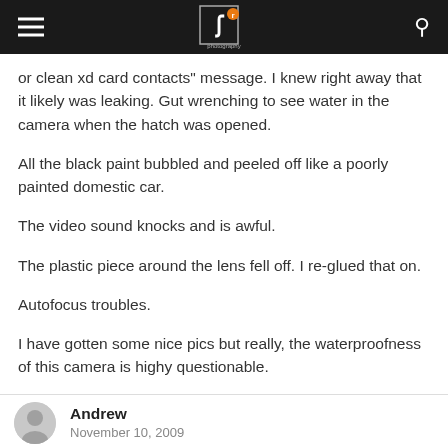photography review
or clean xd card contacts" message. I knew right away that it likely was leaking. Gut wrenching to see water in the camera when the hatch was opened.
All the black paint bubbled and peeled off like a poorly painted domestic car.
The video sound knocks and is awful.
The plastic piece around the lens fell off. I re-glued that on.
Autofocus troubles.
I have gotten some nice pics but really, the waterproofness of this camera is highy questionable.
Andrew
November 10, 2009